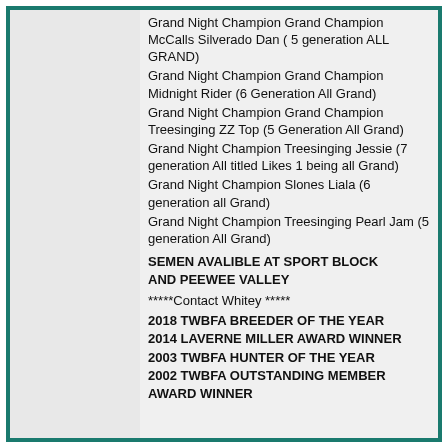Grand Night Champion Grand Champion McCalls Silverado Dan ( 5 generation ALL GRAND)
Grand Night Champion Grand Champion Midnight Rider (6 Generation All Grand)
Grand Night Champion Grand Champion Treesinging ZZ Top (5 Generation All Grand)
Grand Night Champion Treesinging Jessie (7 generation All titled Likes 1 being all Grand)
Grand Night Champion Slones Liala (6 generation all Grand)
Grand Night Champion Treesinging Pearl Jam (5 generation All Grand)
SEMEN AVALIBLE AT SPORT BLOCK
AND PEEWEE VALLEY
*****Contact Whitey *****
2018 TWBFA BREEDER OF THE YEAR
2014 LAVERNE MILLER AWARD WINNER
2003 TWBFA HUNTER OF THE YEAR
2002 TWBFA OUTSTANDING MEMBER AWARD WINNER